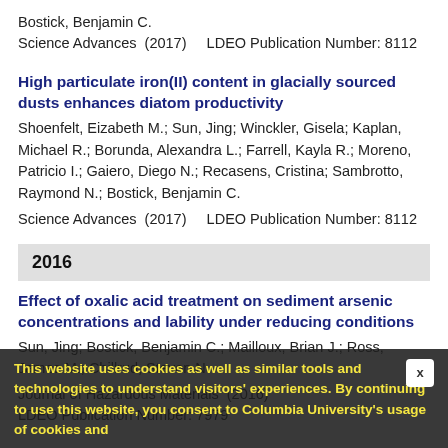Bostick, Benjamin C.
Science Advances  (2017)    LDEO Publication Number: 8112
High particulate iron(II) content in glacially sourced dusts enhances diatom productivity
Shoenfelt, Eizabeth M.; Sun, Jing; Winckler, Gisela; Kaplan, Michael R.; Borunda, Alexandra L.; Farrell, Kayla R.; Moreno, Patricio I.; Gaiero, Diego N.; Recasens, Cristina; Sambrotto, Raymond N.; Bostick, Benjamin C.
Science Advances  (2017)    LDEO Publication Number: 8112
2016
Effect of oxalic acid treatment on sediment arsenic concentrations and lability under reducing conditions
Sun, Jing; Bostick, Benjamin C.; Mailloux, Brian J.; Ross, James M.; Chillrud, Steven N.
Journal of Hazardous Materials  (2016)
LDEO Publication Number: 7979
This website uses cookies as well as similar tools and technologies to understand visitors' experiences. By continuing to use this website, you consent to Columbia University's usage of cookies and